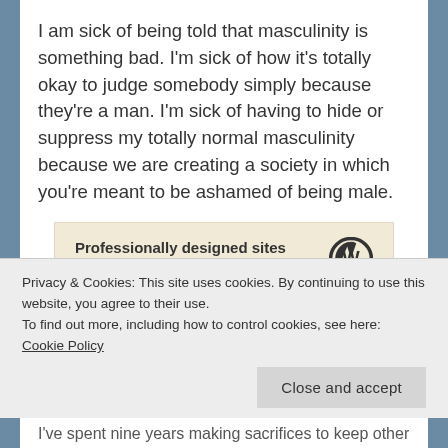I am sick of being told that masculinity is something bad. I'm sick of how it's totally okay to judge somebody simply because they're a man. I'm sick of having to hide or suppress my totally normal masculinity because we are creating a society in which you're meant to be ashamed of being male.
[Figure (screenshot): Advertisement banner for WordPress: 'Professionally designed sites in less than a week' with WordPress logo on the right]
Things are changing. I felt so utterly powerless last
Privacy & Cookies: This site uses cookies. By continuing to use this website, you agree to their use.
To find out more, including how to control cookies, see here: Cookie Policy
I've spent nine years making sacrifices to keep other